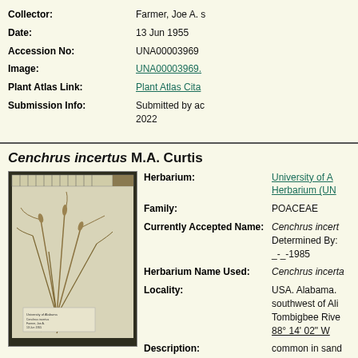Collector: Farmer, Joe A. s
Date: 13 Jun 1955
Accession No: UNA00003969
Image: UNA00003969.
Plant Atlas Link: Plant Atlas Cita
Submission Info: Submitted by ac 2022
Cenchrus incertus M.A. Curtis
[Figure (photo): Herbarium specimen photo of Cenchrus incertus grass plant mounted on white paper with label]
Herbarium: University of A Herbarium (UN
Family: POACEAE
Currently Accepted Name: Cenchrus incert Determined By: _-_-1985
Herbarium Name Used: Cenchrus incerta
Locality: USA. Alabama. southwest of Ali Tombigbee Rive 88° 14' 02" W
Description: common in sand
Habitat: in bottomland